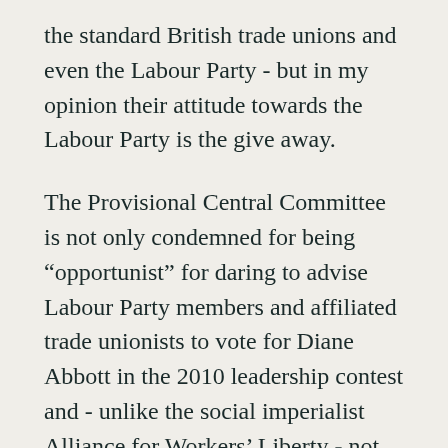the standard British trade unions and even the Labour Party - but in my opinion their attitude towards the Labour Party is the give away.
The Provisional Central Committee is not only condemned for being “opportunist” for daring to advise Labour Party members and affiliated trade unionists to vote for Diane Abbott in the 2010 leadership contest and - unlike the social imperialist Alliance for Workers’ Liberty - not Ed Miliband, nor any of the other former cabinet ministers. Touchingly in the name of John McDonnell’s failed candidacy our leftist CPGB comrades advocated a boycott or a passive abstention. In order to square this particular circle